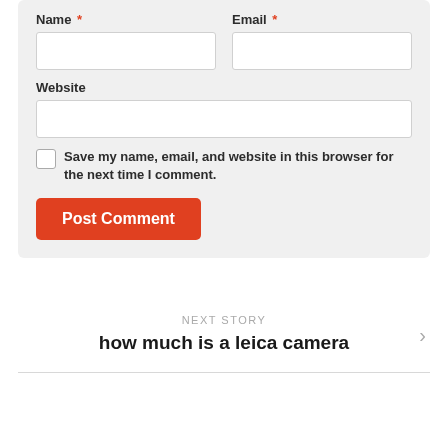Name *
Email *
Website
Save my name, email, and website in this browser for the next time I comment.
Post Comment
NEXT STORY
how much is a leica camera